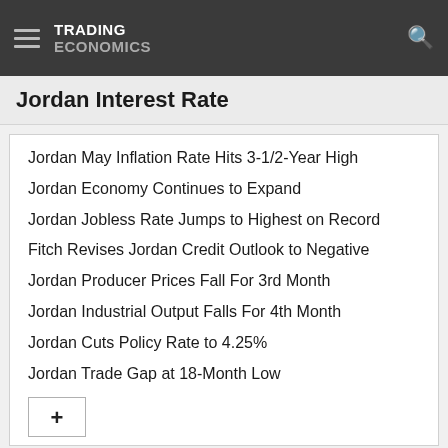TRADING ECONOMICS
Jordan Interest Rate
Jordan May Inflation Rate Hits 3-1/2-Year High
Jordan Economy Continues to Expand
Jordan Jobless Rate Jumps to Highest on Record
Fitch Revises Jordan Credit Outlook to Negative
Jordan Producer Prices Fall For 3rd Month
Jordan Industrial Output Falls For 4th Month
Jordan Cuts Policy Rate to 4.25%
Jordan Trade Gap at 18-Month Low
+
Latest